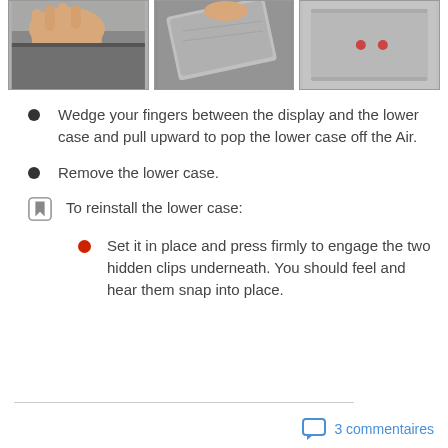[Figure (photo): Three step-by-step photos showing removal of a laptop lower case. Left: hand wedging fingers between display and case. Center: lower case being lifted off. Right: underside of removed lower case showing screws.]
Wedge your fingers between the display and the lower case and pull upward to pop the lower case off the Air.
Remove the lower case.
To reinstall the lower case:
Set it in place and press firmly to engage the two hidden clips underneath. You should feel and hear them snap into place.
3 commentaires